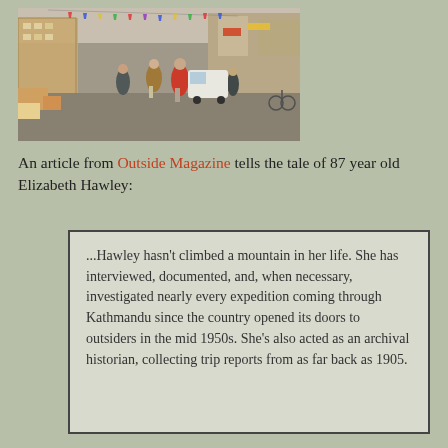[Figure (photo): Street scene in Kathmandu with pedestrians, shops, vehicles, and colorful banners overhead]
An article from Outside Magazine tells the tale of 87 year old Elizabeth Hawley:
...Hawley hasn't climbed a mountain in her life. She has interviewed, documented, and, when necessary, investigated nearly every expedition coming through Kathmandu since the country opened its doors to outsiders in the mid 1950s. She's also acted as an archival historian, collecting trip reports from as far back as 1905.